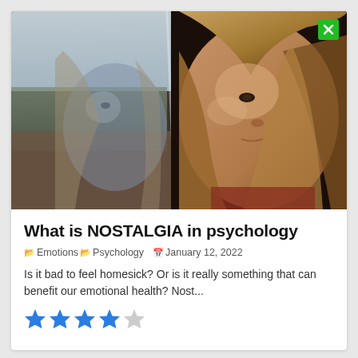[Figure (photo): A woman pressing her face against a glass window with her reflection visible, conveying nostalgia or melancholy]
What is NOSTALGIA in psychology
Emotions  Psychology   January 12, 2022
Is it bad to feel homesick? Or is it really something that can benefit our emotional health? Nost...
[Figure (other): 4 out of 5 stars rating in blue]